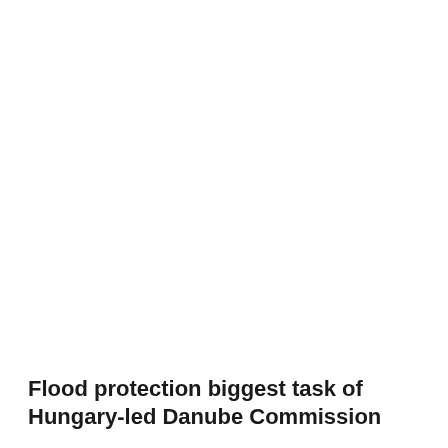Flood protection biggest task of Hungary-led Danube Commission